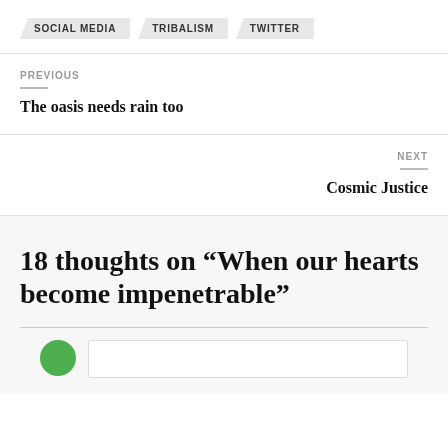SOCIAL MEDIA
TRIBALISM
TWITTER
PREVIOUS
The oasis needs rain too
NEXT
Cosmic Justice
18 thoughts on “When our hearts become impenetrable”